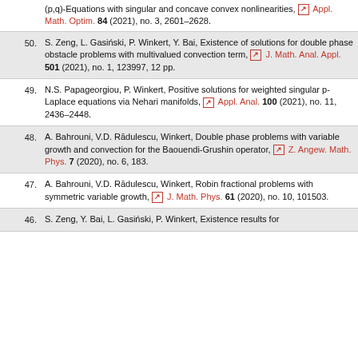(p,q)-Equations with singular and concave convex nonlinearities, Appl. Math. Optim. 84 (2021), no. 3, 2601–2628.
50. S. Zeng, L. Gasiński, P. Winkert, Y. Bai, Existence of solutions for double phase obstacle problems with multivalued convection term, J. Math. Anal. Appl. 501 (2021), no. 1, 123997, 12 pp.
49. N.S. Papageorgiou, P. Winkert, Positive solutions for weighted singular p-Laplace equations via Nehari manifolds, Appl. Anal. 100 (2021), no. 11, 2436–2448.
48. A. Bahrouni, V.D. Rădulescu, Winkert, Double phase problems with variable growth and convection for the Baouendi-Grushin operator, Z. Angew. Math. Phys. 7 (2020), no. 6, 183.
47. A. Bahrouni, V.D. Rădulescu, Winkert, Robin fractional problems with symmetric variable growth, J. Math. Phys. 61 (2020), no. 10, 101503.
46. S. Zeng, Y. Bai, L. Gasiński, P. Winkert, Existence results for...